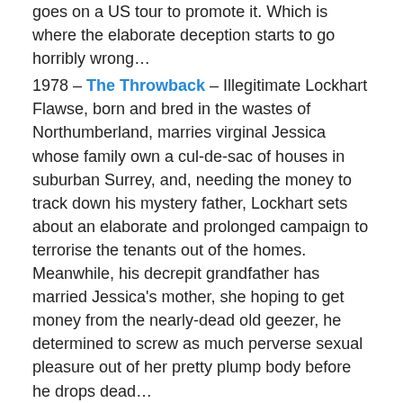goes on a US tour to promote it. Which is where the elaborate deception starts to go horribly wrong…
1978 – The Throwback – Illegitimate Lockhart Flawse, born and bred in the wastes of Northumberland, marries virginal Jessica whose family own a cul-de-sac of houses in suburban Surrey, and, needing the money to track down his mystery father, Lockhart sets about an elaborate and prolonged campaign to terrorise the tenants out of the homes. Meanwhile, his decrepit grandfather has married Jessica's mother, she hoping to get money from the nearly-dead old geezer, he determined to screw as much perverse sexual pleasure out of her pretty plump body before he drops dead…
1979 – The Wilt Alternative – After a slow, comic, meandering first 90 pages, this novel changes tone drastically when international terrorists take Wilt and his children hostage in his nice suburban house leading to a